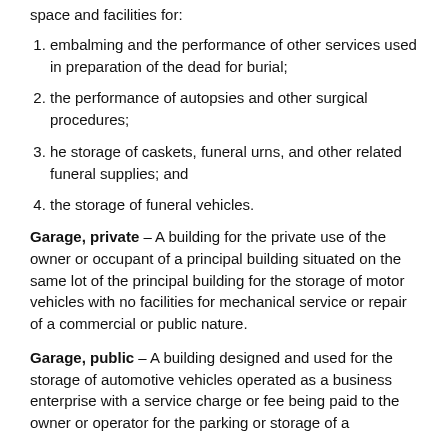space and facilities for:
embalming and the performance of other services used in preparation of the dead for burial;
the performance of autopsies and other surgical procedures;
he storage of caskets, funeral urns, and other related funeral supplies; and
the storage of funeral vehicles.
Garage, private – A building for the private use of the owner or occupant of a principal building situated on the same lot of the principal building for the storage of motor vehicles with no facilities for mechanical service or repair of a commercial or public nature.
Garage, public – A building designed and used for the storage of automotive vehicles operated as a business enterprise with a service charge or fee being paid to the owner or operator for the parking or storage of a